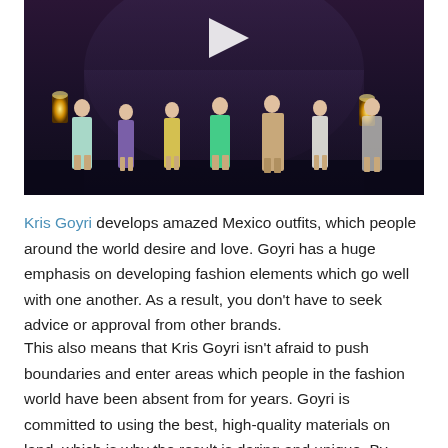[Figure (photo): A fashion show video thumbnail showing multiple models walking on a stage at night with decorative lamps, wearing colorful outfits (mint, purple, yellow, teal, beige). A play button triangle is visible at the top center.]
Kris Goyri develops amazed Mexico outfits, which people around the world desire and love. Goyri has a huge emphasis on developing fashion elements which go well with one another. As a result, you don't have to seek advice or approval from other brands.
This also means that Kris Goyri isn't afraid to push boundaries and enter areas which people in the fashion world have been absent from for years. Goyri is committed to using the best, high-quality materials on land, which is why the result is daring and unique. By combining an array of colours together, he's gone on to create some of the most